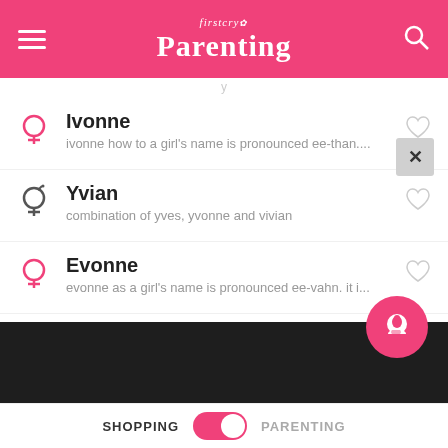[Figure (screenshot): FirstCry Parenting app header with pink background, hamburger menu, logo, and search icon]
Ivonne – ivonne how to a girl's name is pronounced ee-than....
Yvian – combination of yves, yvonne and vivian
Evonne – evonne as a girl's name is pronounced ee-vahn. it i...
Ivona – Croatian form of Yvonne, meaning yew.
SHOPPING | toggle | PARENTING